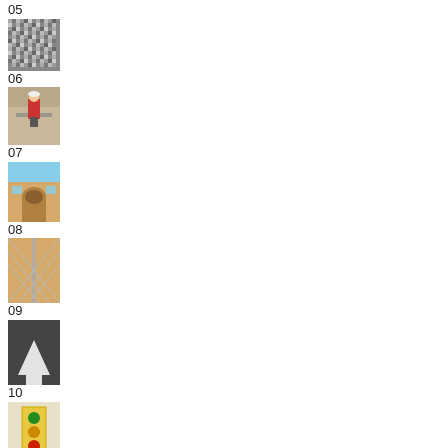05
[Figure (photo): Grainy/noisy texture image, appears to be static or gravel closeup]
06
[Figure (photo): Worker in red shirt on scaffolding or lift against a wall]
07
[Figure (photo): Building facade with arched doorway and blue sky]
08
[Figure (photo): Chain-link fence against sandy/tan wall]
09
[Figure (photo): Road/asphalt with white painted arrow or line marking]
10
[Figure (photo): Yellow pedestrian signal or crossing button post]